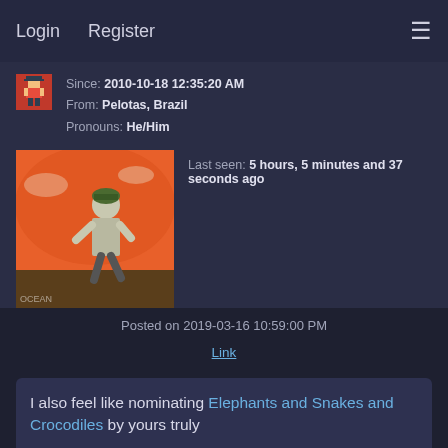Login   Register   ☰
Since: 2010-10-18 12:35:20 AM
From: Pelotas, Brazil
Pronouns: He/Him
Last seen: 5 hours, 5 minutes and 37 seconds ago
[Figure (photo): Small pixel art avatar of a character, and a large square profile photo of a person running on an orange background]
Posted on 2019-03-16 10:59:00 PM
Link
I also feel like nominating Elephants and Snakes and Crocodiles by yours truly

It is a well made hack, has the same line of thought as the prequel and is enjoyable at best. It's more acessible in the sense that you can pick any levels from any order to progress to the next part and lose lives as much as you want. If the retry system made you spawn on the boss arena in certain levels rather than the room before it would be great, but it's more of a personal nitpick.
I also like how chocolate-y it gets as we go on (and I'm not